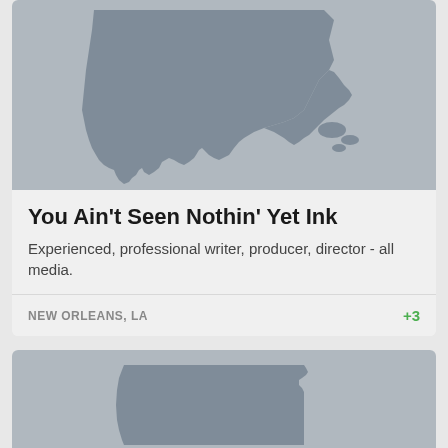[Figure (map): Silhouette map of Louisiana state in dark gray on light gray background]
You Ain't Seen Nothin' Yet Ink
Experienced, professional writer, producer, director - all media.
NEW ORLEANS, LA  +3
[Figure (map): Silhouette map of Arkansas state in dark gray on light gray background]